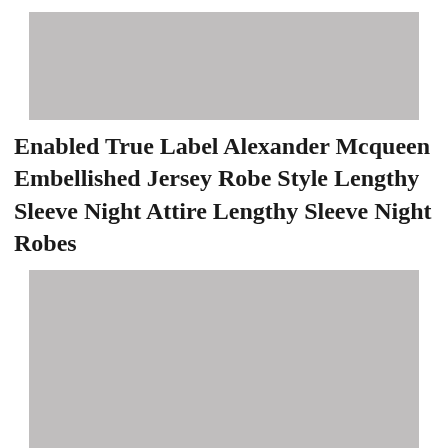[Figure (photo): Gray placeholder image block at the top of the page]
Enabled True Label Alexander Mcqueen Embellished Jersey Robe Style Lengthy Sleeve Night Attire Lengthy Sleeve Night Robes
[Figure (photo): Gray placeholder image block at the bottom of the page]